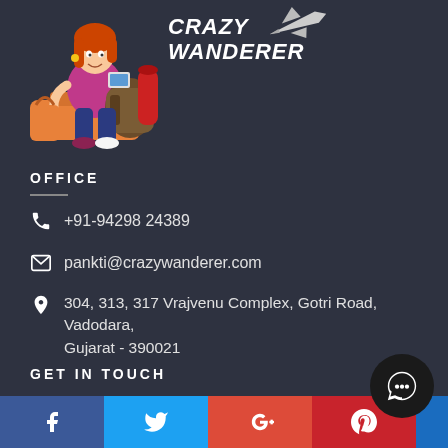[Figure (logo): Crazy Wanderer logo with cartoon girl sitting on luggage with backpack, airplane icon, and brand text CRAZY WANDERER]
OFFICE
+91-94298 24389
pankti@crazywanderer.com
304, 313, 317 Vrajvenu Complex, Gotri Road, Vadodara, Gujarat - 390021
GET IN TOUCH
[Figure (infographic): Social media bar with Facebook, Twitter, Google+, Pinterest icons and a chat bubble button]